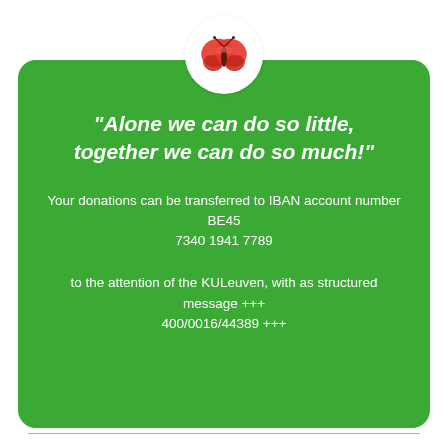[Figure (illustration): Red butterfly inside a white circle, logo for a donation campaign]
"Alone we can do so little, together we can do so much!"
Your donations can be transferred to IBAN account number BE45 7340 1941 7789
to the attention of the KULeuven, with as structured message +++ 400/0016/44389 +++